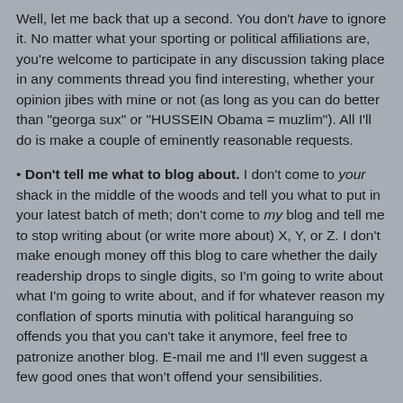Well, let me back that up a second. You don't have to ignore it. No matter what your sporting or political affiliations are, you're welcome to participate in any discussion taking place in any comments thread you find interesting, whether your opinion jibes with mine or not (as long as you can do better than "georga sux" or "HUSSEIN Obama = muzlim"). All I'll do is make a couple of eminently reasonable requests.
Don't tell me what to blog about. I don't come to your shack in the middle of the woods and tell you what to put in your latest batch of meth; don't come to my blog and tell me to stop writing about (or write more about) X, Y, or Z. I don't make enough money off this blog to care whether the daily readership drops to single digits, so I'm going to write about what I'm going to write about, and if for whatever reason my conflation of sports minutia with political haranguing so offends you that you can't take it anymore, feel free to patronize another blog. E-mail me and I'll even suggest a few good ones that won't offend your sensibilities.
Stay on topic. Here are two specific examples of what not to be: Don't be that unfunny asshole who tries to score